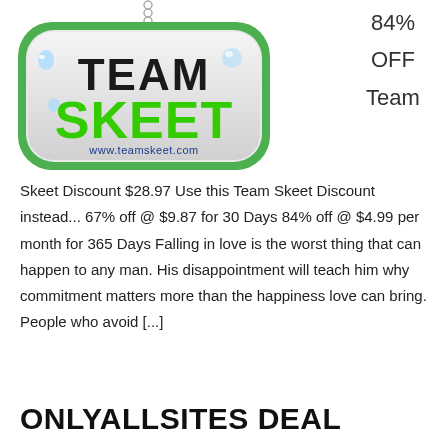[Figure (logo): Team Skeet logo on a dog-tag shaped badge with green border. Text 'TEAM' in black and 'SKEET' in green, with www.teamskeet.com below.]
84%
OFF
Team
Skeet Discount $28.97 Use this Team Skeet Discount instead... 67% off @ $9.87 for 30 Days 84% off @ $4.99 per month for 365 Days Falling in love is the worst thing that can happen to any man. His disappointment will teach him why commitment matters more than the happiness love can bring. People who avoid [...]
ONLYALLSITES DEAL